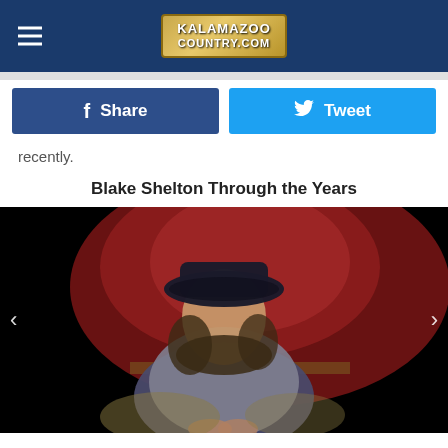KALAMAZOO COUNTRY.COM
recently.
Blake Shelton Through the Years
[Figure (photo): Young Blake Shelton wearing a dark cowboy hat and gray shirt, sitting on a leopard-print chair against a red and dark background, looking at camera with hands clasped]